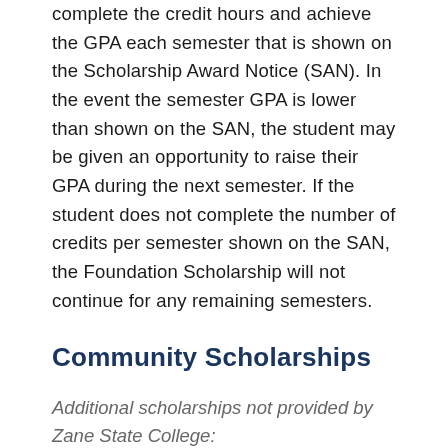complete the credit hours and achieve the GPA each semester that is shown on the Scholarship Award Notice (SAN). In the event the semester GPA is lower than shown on the SAN, the student may be given an opportunity to raise their GPA during the next semester. If the student does not complete the number of credits per semester shown on the SAN, the Foundation Scholarship will not continue for any remaining semesters.
Community Scholarships
Additional scholarships not provided by Zane State College: